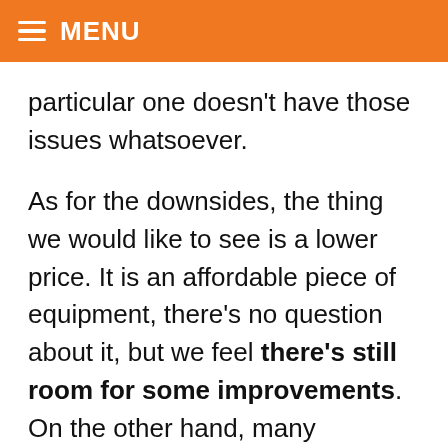MENU
particular one doesn't have those issues whatsoever.
As for the downsides, the thing we would like to see is a lower price. It is an affordable piece of equipment, there's no question about it, but we feel there's still room for some improvements. On the other hand, many professionals praised its reliability and precision, so it's far from an unusable product. Upper and lower